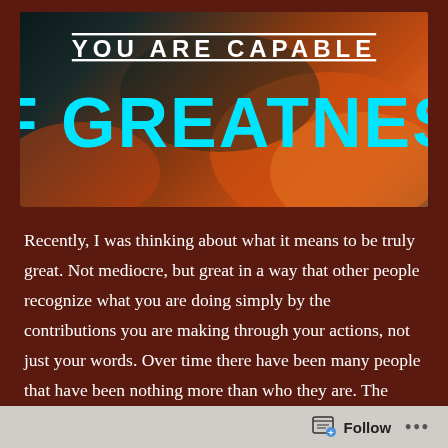[Figure (illustration): Motivational banner image with dark background blending teal and orange colors. Text reads 'YOU ARE CAPABLE' in white uppercase letters and 'OF GREATNESS' in large cyan/turquoise bold uppercase letters.]
Recently, I was thinking about what it means to be truly great. Not mediocre, but great in a way that other people recognize what you are doing simply by the contributions you are making through your actions, not just your words. Over time there have been many people that have been nothing more than who they are. The contributions they made were simply the course of business for them, not something that they strived to make grand or well known.
Then I thought about the definition of greatness and
Follow ...